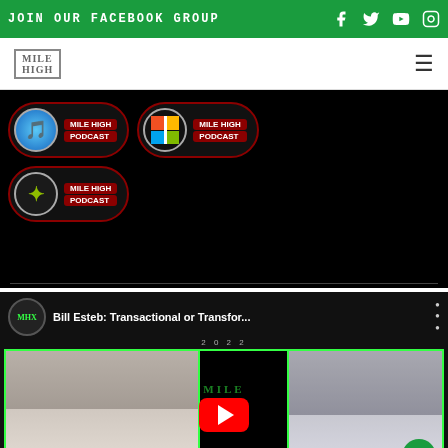JOIN OUR FACEBOOK GROUP
[Figure (logo): Mile High logo with navigation menu icon]
[Figure (screenshot): Three Mile High Podcast badges/logos on black background - iTunes badge, YouTube/Windows badge, and Stitcher badge]
[Figure (screenshot): YouTube video thumbnail: Bill Esteb: Transactional or Transfor... - 2022, showing two men in video call format with green neon border frame and red YouTube play button]
Bill Esteb: Transactional or Transfor...